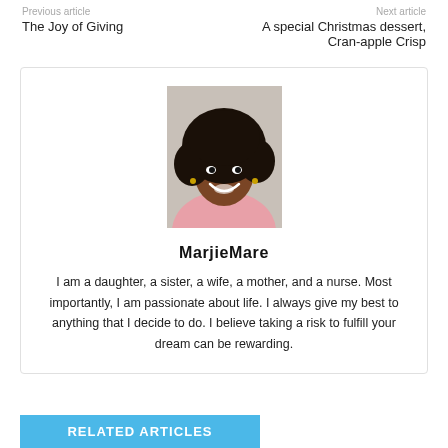Previous article	Next article
The Joy of Giving
A special Christmas dessert, Cran-apple Crisp
[Figure (photo): Portrait photo of MarjieMare, a smiling woman with curly hair wearing a pink top]
MarjieMare
I am a daughter, a sister, a wife, a mother, and a nurse. Most importantly, I am passionate about life. I always give my best to anything that I decide to do. I believe taking a risk to fulfill your dream can be rewarding.
RELATED ARTICLES